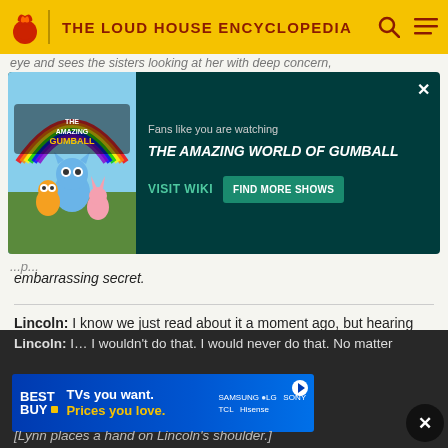THE LOUD HOUSE ENCYCLOPEDIA
eye and sees the sisters looking at her with deep concern,
[Figure (infographic): Promotional ad banner for The Amazing World of Gumball wiki. Dark teal background with show artwork on left (characters including Gumball, Darwin, Anais). Text reads: 'Fans like you are watching THE AMAZING WORLD OF GUMBALL'. Buttons: 'VISIT WIKI' and 'FIND MORE SHOWS'. X close button top right.]
embarrassing secret.
Lincoln: I know we just read about it a moment ago, but hearing Leni repeat it just makes me… makes me…
[Lincoln looks down at his open hands.]
Lincoln: I… I wouldn't do that. I would never do that. No matter
[Figure (infographic): Best Buy advertisement banner. Blue gradient background. Best Buy logo on left (white text with yellow tag). Text: 'TVs you want. Prices you love.' in white and yellow. Brand logos on right: SAMSUNG, LG, SONY, TCL, Hisense. Play icon top right.]
[Lynn places a hand on Lincoln's shoulder.]